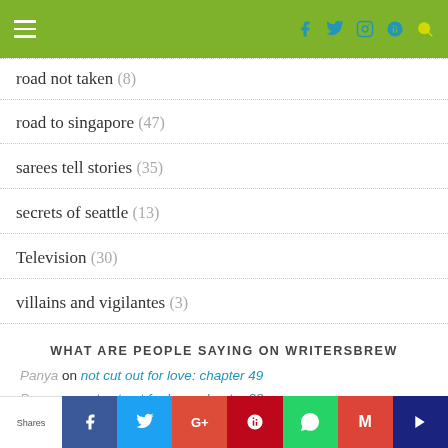Navigation bar with hamburger menu and social icons
road not taken (8)
road to singapore (47)
sarees tell stories (35)
secrets of seattle (13)
Television (30)
villains and vigilantes (3)
WHAT ARE PEOPLE SAYING ON WRITERSBREW
Panya on not cut out for love: chapter 49
Panya on not cut out for love: chapter 28
Shares | Facebook | Twitter | Google+ | Pinterest | WhatsApp | Email | Bookmark